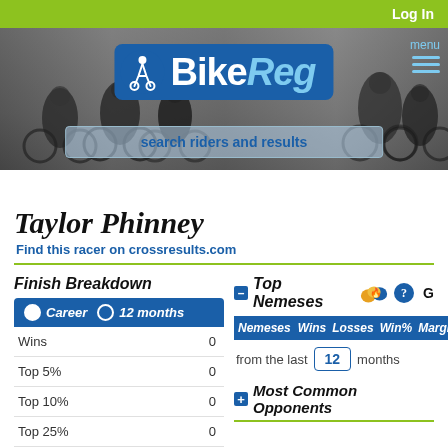Log In
[Figure (screenshot): BikeReg website header with cycling photo background, BikeReg logo, menu button, and search bar]
Taylor Phinney
Find this racer on crossresults.com
Finish Breakdown
|  |  |
| --- | --- |
| Wins | 0 |
| Top 5% | 0 |
| Top 10% | 0 |
| Top 25% | 0 |
Top Nemeses
| Nemeses | Wins | Losses | Win% | Margin |
| --- | --- | --- | --- | --- |
from the last 12 months
Most Common Opponents